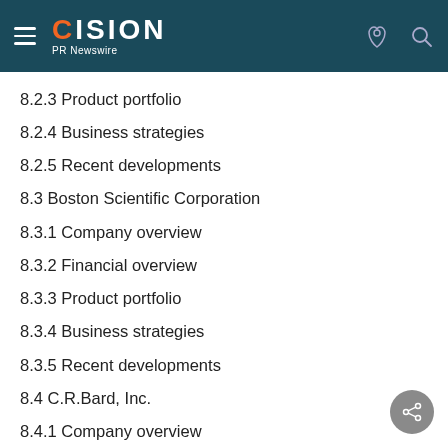CISION PR Newswire
8.2.3 Product portfolio
8.2.4 Business strategies
8.2.5 Recent developments
8.3 Boston Scientific Corporation
8.3.1 Company overview
8.3.2 Financial overview
8.3.3 Product portfolio
8.3.4 Business strategies
8.3.5 Recent developments
8.4 C.R.Bard, Inc.
8.4.1 Company overview
8.4.2 Financial overview
8.4.3 Product portfolio